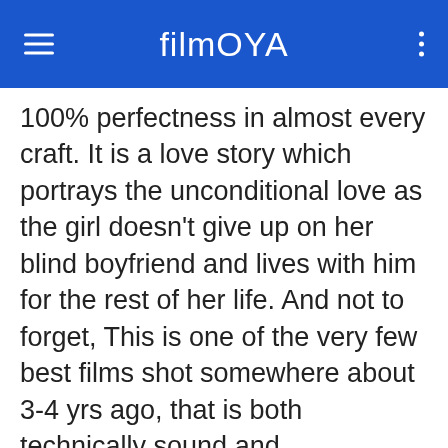filmOYA
100% perfectness in almost every craft. It is a love story which portrays the unconditional love as the girl doesn't give up on her blind boyfriend and lives with him for the rest of her life. And not to forget, This is one of the very few best films shot somewhere about 3-4 yrs ago, that is both technically sound and productionally rich.
Why should it win?  : Screenplay
Acting
dialogues
Raagam : I don' think I should talk about